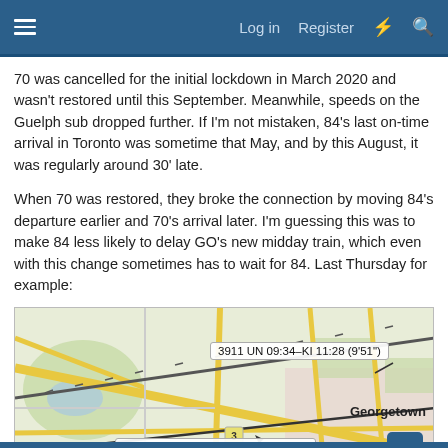Log in   Register
70 was cancelled for the initial lockdown in March 2020 and wasn't restored until this September. Meanwhile, speeds on the Guelph sub dropped further. If I'm not mistaken, 84's last on-time arrival in Toronto was sometime that May, and by this August, it was regularly around 30' late.
When 70 was restored, they broke the connection by moving 84's departure earlier and 70's arrival later. I'm guessing this was to make 84 less likely to delay GO's new midday train, which even with this change sometimes has to wait for 84. Last Thursday for example:
[Figure (map): Street/rail map showing Georgetown area with two train tooltips: '3911 UN 09:34–KI 11:28 (9'51")' and '84 SARN 6:10–TRTO 10:53 (41'14")'. Road network, green areas, and a diagonal rail line crossing the center. Georgetown label visible on the right side.]